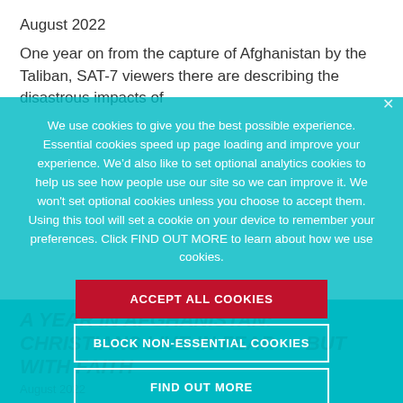August 2022
One year on from the capture of Afghanistan by the Taliban, SAT-7 viewers there are describing the disastrous impacts of
We use cookies to give you the best possible experience. Essential cookies speed up page loading and improve your experience. We’d also like to set optional analytics cookies to help us see how people use our site so we can improve it. We won't set optional cookies unless you choose to accept them. Using this tool will set a cookie on your device to remember your preferences. Click FIND OUT MORE to learn about how we use cookies.
ACCEPT ALL COOKIES
BLOCK NON-ESSENTIAL COOKIES
FIND OUT MORE
A YEAR IN AFGHANISTAN: CHRISTIANS LIVE IN FEAR — BUT WITH FAITH
August 2022